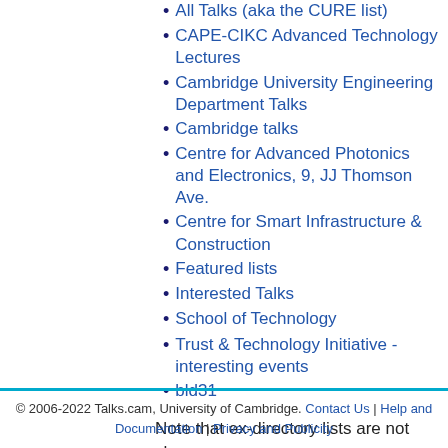All Talks (aka the CURE list)
CAPE-CIKC Advanced Technology Lectures
Cambridge University Engineering Department Talks
Cambridge talks
Centre for Advanced Photonics and Electronics, 9, JJ Thomson Ave.
Centre for Smart Infrastructure & Construction
Featured lists
Interested Talks
School of Technology
Trust & Technology Initiative - interesting events
bld31
Note that ex-directory lists are not shown.
© 2006-2022 Talks.cam, University of Cambridge. Contact Us | Help and Documentation | Privacy and Publicity